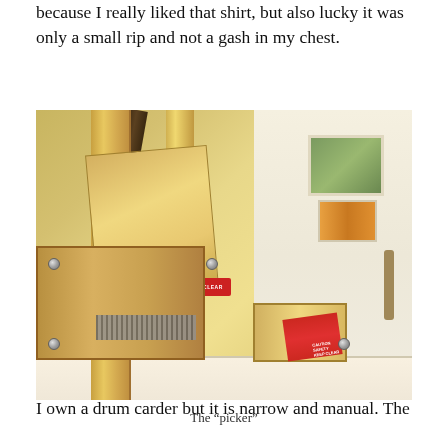because I really liked that shirt, but also lucky it was only a small rip and not a gash in my chest.
[Figure (photo): A wool picker machine made of light-colored wood sitting on a white table. The picker has a tall wooden frame with dark leather/nylon straps, a carding surface with metal teeth, a red 'DANGER KEEP CLEAR' sticker, and a tray at the right with a red caution manual. Background shows a white wall with photos/pictures and a wrench.]
The “picker”
I own a drum carder but it is narrow and manual. The